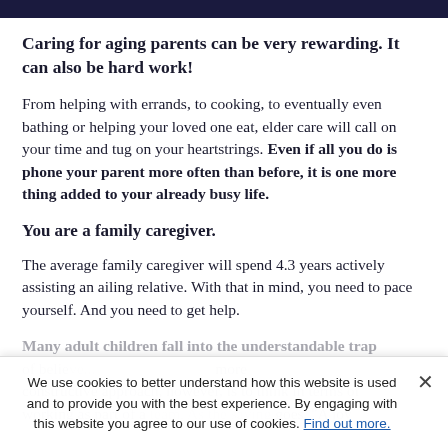Caring for aging parents can be very rewarding. It can also be hard work!
From helping with errands, to cooking, to eventually even bathing or helping your loved one eat, elder care will call on your time and tug on your heartstrings. Even if all you do is phone your parent more often than before, it is one more thing added to your already busy life.
You are a family caregiver.
The average family caregiver will spend 4.3 years actively assisting an ailing relative. With that in mind, you need to pace yourself. And you need to get help.
Many adult children fall into the understandable trap of believing that... A more constructive approach, however, is to think in terms of working as part of a team. As the saying goes, "A joy...
We use cookies to better understand how this website is used and to provide you with the best experience. By engaging with this website you agree to our use of cookies. Find out more.